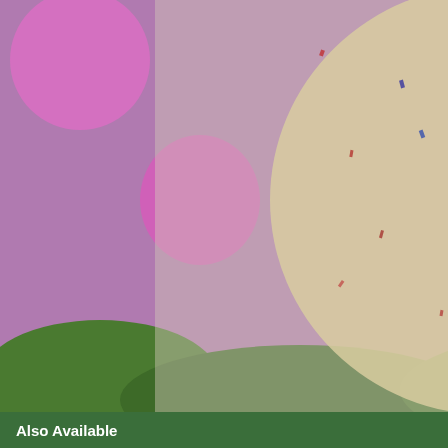[Figure (photo): Main product image: a seed ball (bird seed ornament) shown against a background of pink and purple flowers. A semi-transparent overlay shows the seed ball up close. A bird is visible perched on top.]
[Figure (photo): Thumbnail image 1: product packaging with label 'Seed Sticks']
[Figure (photo): Thumbnail image 2: close-up of the seed ball product]
1
2
Outdoor Living > Garden Seeds and Plants
Kids, Games & Educational > DIY > Nature Crafts
Wild Birds > Seed, Suet & Food > Wild Bird Seed
Also Available